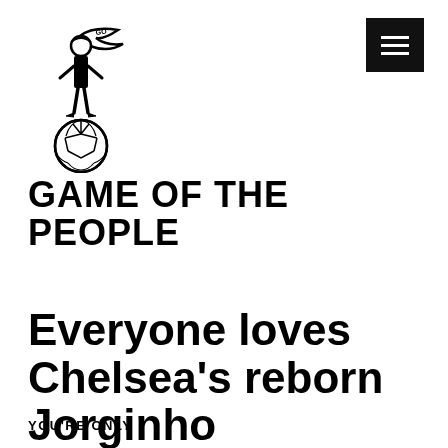[Figure (logo): Game of the People logo: a figure in referee/footballer attire standing on a football, holding a scarf, with the text 'GO' visible]
[Figure (other): Black hamburger menu button (three white horizontal lines on black background) in top right corner]
GAME OF THE PEOPLE
Everyone loves Chelsea's reborn Jorginho
YOU'RE ONLY